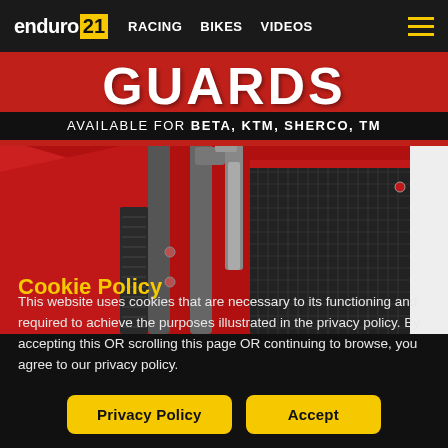enduro21  RACING  BIKES  VIDEOS
[Figure (photo): Enduro21 website screenshot showing a red motorcycle guard product banner with text GUARDS AVAILABLE FOR BETA, KTM, SHERCO, TM and a close-up photo of a red motorcycle front suspension and radiator guard]
Cookie Policy
This website uses cookies that are necessary to its functioning and required to achieve the purposes illustrated in the privacy policy. By accepting this OR scrolling this page OR continuing to browse, you agree to our privacy policy.
Privacy Policy  Accept